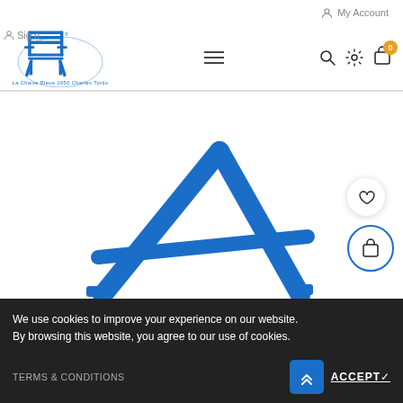My Account
[Figure (logo): La Chaise Bleue 1950 Charles Tordo brand logo with blue chair illustration]
[Figure (photo): Blue metal chair frame/legs product photo on white background - Chaise bleue à fixer au mur]
Chaise bleue à fixer au mur
We use cookies to improve your experience on our website. By browsing this website, you agree to our use of cookies.
TERMS & CONDITIONS
ACCEPT ✓